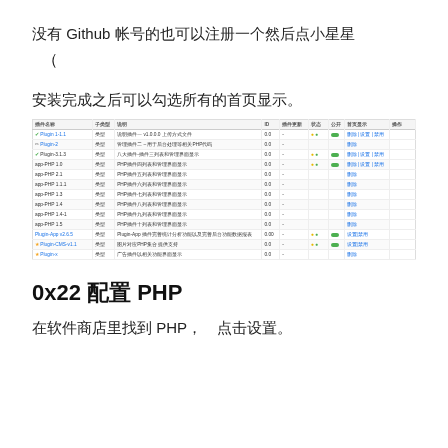没有 Github 帐号的也可以注册一个然后点小星星
（
安装完成之后可以勾选所有的首页显示。
[Figure (screenshot): Screenshot of a plugin/module management table with columns for plugin name, type, description, ID, update status, status, and action buttons. Rows show various plugins, some with green toggle switches enabled and star/pencil icons.]
0x22 配置 PHP
在软件商店里找到 PHP，  点击设置。